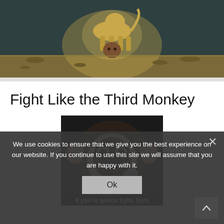[Figure (photo): A large animal (lion or similar) standing over a person lying on the ground in a desert/dry landscape setting, dramatic backlighting]
Fight Like the Third Monkey
[Figure (photo): Close-up image of a chimpanzee with intense expression, holding what appears to be a metal object, with text at the bottom reading 'If you're gonna fight, fight']
We use cookies to ensure that we give you the best experience on our website. If you continue to use this site we will assume that you are happy with it.
Ok